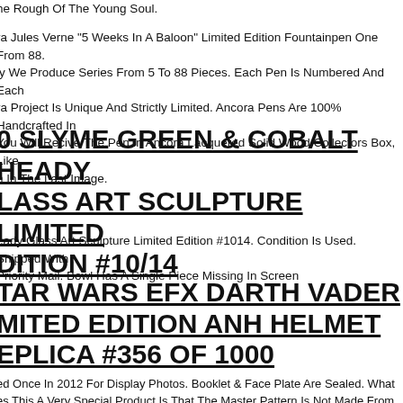he Rough Of The Young Soul.
ra Jules Verne "5 Weeks In A Baloon" Limited Edition Fountainpen One From 88. ly We Produce Series From 5 To 88 Pieces. Each Pen Is Numbered And Each ra Project Is Unique And Strictly Limited. Ancora Pens Are 100% Handcrafted In You Will Recive The Pen In Ancora Lacquered Solid Wood Collectors Box, Like n In The Last Image.
0 SLYME GREEN & COBALT HEADY LASS ART SCULPTURE LIMITED DITION #10/14
eady Glass Art Sculpture Limited Edition #1014. Condition Is Used. Shipped With Priority Mail. Bowl Has A Single Piece Missing In Screen
TAR WARS EFX DARTH VADER MITED EDITION ANH HELMET EPLICA #356 OF 1000
ed Once In 2012 For Display Photos. Booklet & Face Plate Are Sealed. What es This A Very Special Product Is That The Master Pattern Is Not Made From A al Scan, It Is An Actual, Original Casting.
OT OF 2 DISNEY PRINCESS BELLE